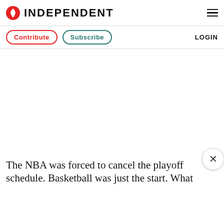INDEPENDENT
Contribute  Subscribe  LOGIN
[Figure (other): Advertisement/empty white space placeholder area]
The NBA was forced to cancel the playoff schedule. Basketball was just the start. What